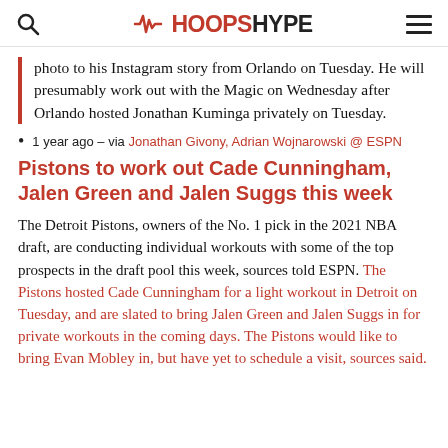HOOPSHYPE
photo to his Instagram story from Orlando on Tuesday. He will presumably work out with the Magic on Wednesday after Orlando hosted Jonathan Kuminga privately on Tuesday.
1 year ago – via Jonathan Givony, Adrian Wojnarowski @ ESPN
Pistons to work out Cade Cunningham, Jalen Green and Jalen Suggs this week
The Detroit Pistons, owners of the No. 1 pick in the 2021 NBA draft, are conducting individual workouts with some of the top prospects in the draft pool this week, sources told ESPN. The Pistons hosted Cade Cunningham for a light workout in Detroit on Tuesday, and are slated to bring Jalen Green and Jalen Suggs in for private workouts in the coming days. The Pistons would like to bring Evan Mobley in, but have yet to schedule a visit, sources said.